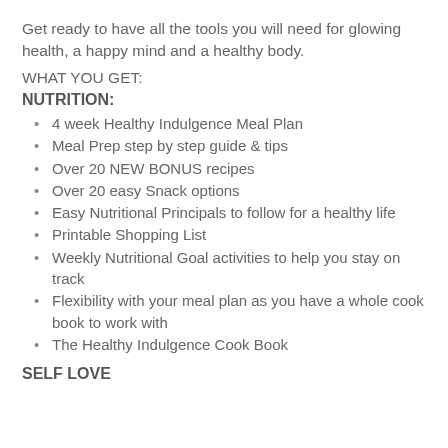Get ready to have all the tools you will need for glowing health, a happy mind and a healthy body.
WHAT YOU GET:
NUTRITION:
4 week Healthy Indulgence Meal Plan
Meal Prep step by step guide & tips
Over 20 NEW BONUS recipes
Over 20 easy Snack options
Easy Nutritional Principals to follow for a healthy life
Printable Shopping List
Weekly Nutritional Goal activities to help you stay on track
Flexibility with your meal plan as you have a whole cook book to work with
The Healthy Indulgence Cook Book
SELF LOVE